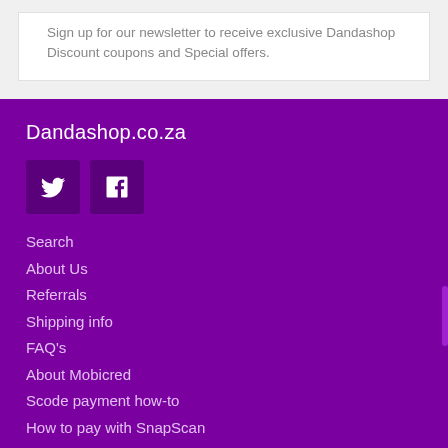Sign up for our newsletter to receive exclusive Dandashop Discount coupons and Special offers.
Dandashop.co.za
[Figure (other): Twitter and Facebook social media icon buttons on purple background]
Search
About Us
Referrals
Shipping info
FAQ's
About Mobicred
Scode payment how-to
How to pay with SnapScan
Easy returns
Contact Us
T's & C's